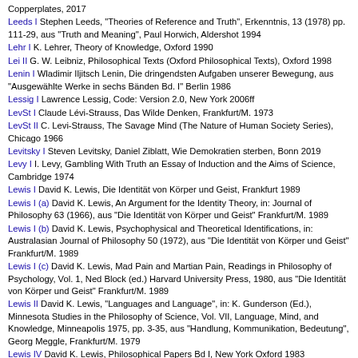Copperplates, 2017
Leeds I Stephen Leeds, "Theories of Reference and Truth", Erkenntnis, 13 (1978) pp. 111-29, aus "Truth and Meaning", Paul Horwich, Aldershot 1994
Lehr I K. Lehrer, Theory of Knowledge, Oxford 1990
Lei II G. W. Leibniz, Philosophical Texts (Oxford Philosophical Texts), Oxford 1998
Lenin I Wladimir Iljitsch Lenin, Die dringendsten Aufgaben unserer Bewegung, aus "Ausgewählte Werke in sechs Bänden Bd. I" Berlin 1986
Lessig I Lawrence Lessig, Code: Version 2.0, New York 2006ff
LevSt I Claude Lévi-Strauss, Das Wilde Denken, Frankfurt/M. 1973
LevSt II C. Levi-Strauss, The Savage Mind (The Nature of Human Society Series), Chicago 1966
Levitsky I Steven Levitsky, Daniel Ziblatt, Wie Demokratien sterben, Bonn 2019
Levy I I. Levy, Gambling With Truth an Essay of Induction and the Aims of Science, Cambridge 1974
Lewis I David K. Lewis, Die Identität von Körper und Geist, Frankfurt 1989
Lewis I (a) David K. Lewis, An Argument for the Identity Theory, in: Journal of Philosophy 63 (1966), aus "Die Identität von Körper und Geist" Frankfurt/M. 1989
Lewis I (b) David K. Lewis, Psychophysical and Theoretical Identifications, in: Australasian Journal of Philosophy 50 (1972), aus "Die Identität von Körper und Geist" Frankfurt/M. 1989
Lewis I (c) David K. Lewis, Mad Pain and Martian Pain, Readings in Philosophy of Psychology, Vol. 1, Ned Block (ed.) Harvard University Press, 1980, aus "Die Identität von Körper und Geist" Frankfurt/M. 1989
Lewis II David K. Lewis, "Languages and Language", in: K. Gunderson (Ed.), Minnesota Studies in the Philosophy of Science, Vol. VII, Language, Mind, and Knowledge, Minneapolis 1975, pp. 3-35, aus "Handlung, Kommunikation, Bedeutung", Georg Meggle, Frankfurt/M. 1979
Lewis IV David K. Lewis, Philosophical Papers Bd I, New York Oxford 1983
Lewis V David K. Lewis, Philosophical Papers Bd II, New York Oxford 1986
Lewis VI David K. Lewis, Konventionen, Berlin 1975